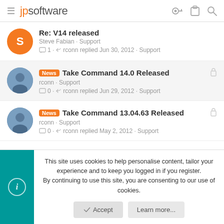jpsoftware
Re: V14 released — Steve Fabian · Support — 1 · rconn replied Jun 30, 2012 · Support
News Take Command 14.0 Released — rconn · Support — 0 · rconn replied Jun 29, 2012 · Support
News Take Command 13.04.63 Released — rconn · Support — 0 · rconn replied May 2, 2012 · Support
This site uses cookies to help personalise content, tailor your experience and to keep you logged in if you register.
By continuing to use this site, you are consenting to our use of cookies.
Accept  Learn more...